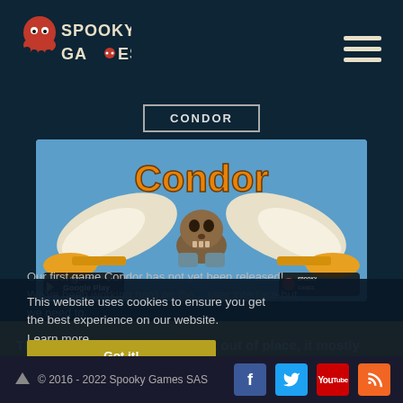SPOOKY GAMES
CONDOR
[Figure (screenshot): Condor game banner image showing a skull character with wings and trumpets, with Google Play badge and Spooky Games logo]
This website uses cookies to ensure you get the best experience on our website. Learn more
The old user interface was a bit out of place, it mostly
© 2016 - 2022 Spooky Games SAS